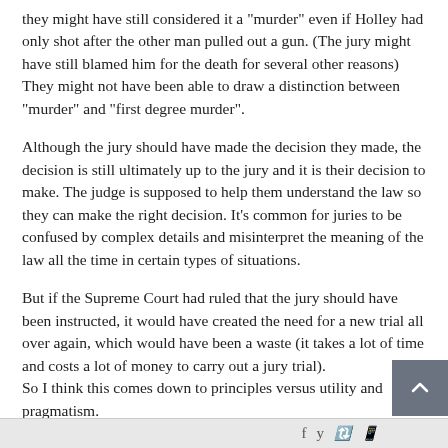they might have still considered it a "murder" even if Holley had only shot after the other man pulled out a gun. (The jury might have still blamed him for the death for several other reasons) They might not have been able to draw a distinction between "murder" and "first degree murder".
Although the jury should have made the decision they made, the decision is still ultimately up to the jury and it is their decision to make. The judge is supposed to help them understand the law so they can make the right decision. It's common for juries to be confused by complex details and misinterpret the meaning of the law all the time in certain types of situations.
But if the Supreme Court had ruled that the jury should have been instructed, it would have created the need for a new trial all over again, which would have been a waste (it takes a lot of time and costs a lot of money to carry out a jury trial). So I think this comes down to principles versus utility and pragmatism.
f  y  ↺  ©